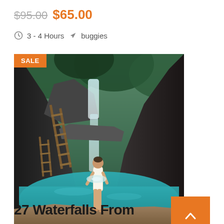$95.00  $65.00
3 - 4 Hours  buggies
[Figure (photo): Woman in white swimsuit standing in front of a blue-water waterfall pool surrounded by rocky cliffs and lush green trees, with wooden ladders on the rocks. A SALE badge is displayed in the top-left corner of the image.]
27 Waterfalls From